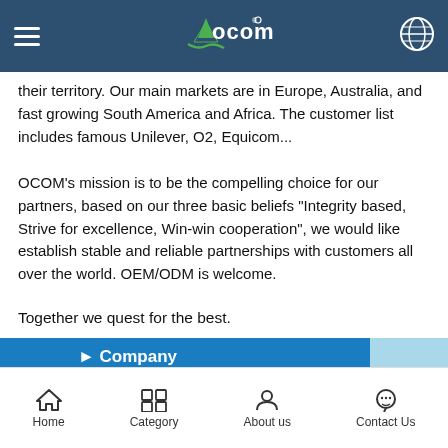OCOM (logo) navigation header
their territory. Our main markets are in Europe, Australia, and fast growing South America and Africa. The customer list includes famous Unilever, O2, Equicom...
OCOM's mission is to be the compelling choice for our partners, based on our three basic beliefs "Integrity based, Strive for excellence, Win-win cooperation", we would like establish stable and reliable partnerships with customers all over the world. OEM/ODM is welcome.
Together we quest for the best.
Company
[Figure (photo): Exterior of OCOM company building - white multi-story building with palm trees]
[Figure (photo): OCOM office reception/lobby area with company logo sign on glass wall]
Home | Category | About us | Contact Us